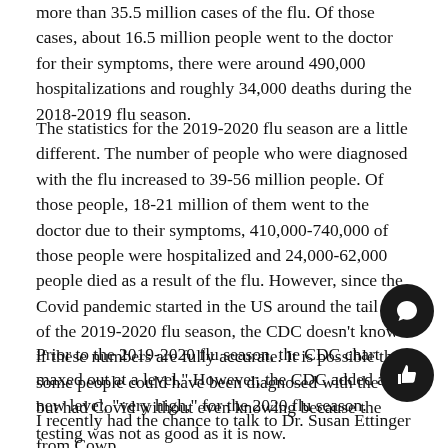more than 35.5 million cases of the flu. Of those cases, about 16.5 million people went to the doctor for their symptoms, there were around 490,000 hospitalizations and roughly 34,000 deaths during the 2018-2019 flu season.
The statistics for the 2019-2020 flu season are a little different. The number of people who were diagnosed with the flu increased to 39-56 million people. Of those people, 18-21 million of them went to the doctor due to their symptoms, 410,000-740,000 of those people were hospitalized and 24,000-62,000 people died as a result of the flu. However, since the Covid pandemic started in the US around the tail end of the 2019-2020 flu season, the CDC doesn't know if these numbers are fully accurate. It is possible that some people could have been diagnosed with the flu, but had Covid without even knowing because the testing was not as good as it is now.
Prior to the 2019-2020 flu season, the CDC chart maxed out at a level." However, the CDC added a new level, "very high," for the 2020 flu season.
I recently had the chance to talk to Dr. Susan Ettinger from Cowp